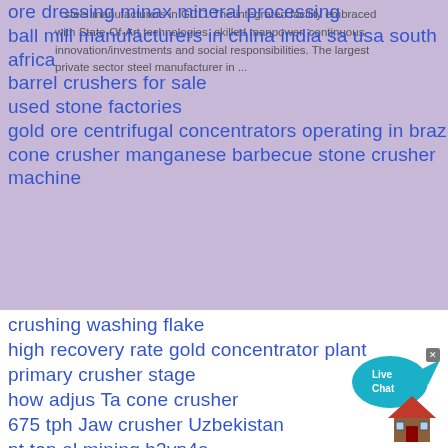steel manufacturers in GCC. The integrated facility embraced with State-Of-Art technologies. skilled manpower, continuous innovation/investments and social responsibilities. The largest private sector steel manufacturer in ...
ore dressing minax mineral processing
ball mill manufacturers in china india sa usa south africa
barrel crushers for sale
used stone factories
gold ore centrifugal concentrators operating in brazil
cone crusher manganese barbecue stone crusher machine
crushing washing flake
high recovery rate gold concentrator plant
primary crusher stage
how adjus Ta cone crusher
675 tph Jaw crusher Uzbekistan
pt top al mining b3yp4a
coal preparation plants for sale solution for ore mining
iowa cons with por le crushing plants
zinc oxide cone stone crusher
Mobile crusher 880 tph Turkey
[Figure (illustration): Live Chat speech bubble button in blue/teal color with text 'Live Chat']
[Figure (illustration): House/home icon in red and brown colors]